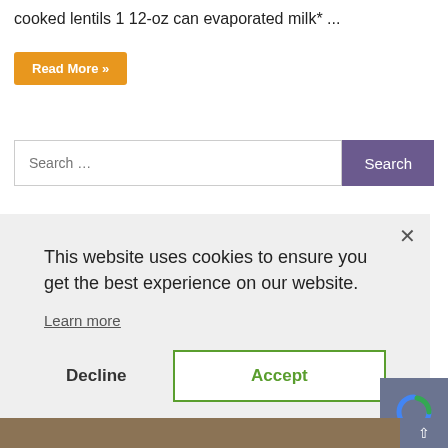cooked lentils 1 12-oz can evaporated milk* ...
Read More »
Search …
This website uses cookies to ensure you get the best experience on our website.
Learn more
Decline
Accept